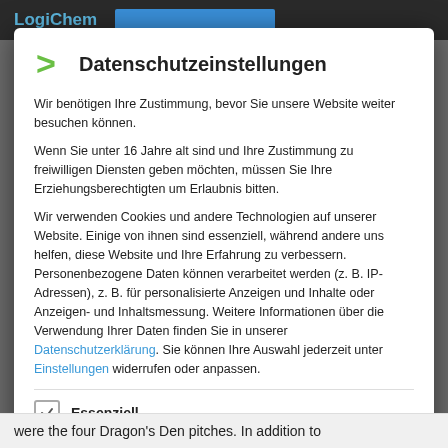[Figure (screenshot): Dark website header bar with 'LogiChem' logo in light blue text]
Datenschutzeinstellungen
Wir benötigen Ihre Zustimmung, bevor Sie unsere Website weiter besuchen können.
Wenn Sie unter 16 Jahre alt sind und Ihre Zustimmung zu freiwilligen Diensten geben möchten, müssen Sie Ihre Erziehungsberechtigten um Erlaubnis bitten.
Wir verwenden Cookies und andere Technologien auf unserer Website. Einige von ihnen sind essenziell, während andere uns helfen, diese Website und Ihre Erfahrung zu verbessern. Personenbezogene Daten können verarbeitet werden (z. B. IP-Adressen), z. B. für personalisierte Anzeigen und Inhalte oder Anzeigen- und Inhaltsmessung. Weitere Informationen über die Verwendung Ihrer Daten finden Sie in unserer Datenschutzerklärung. Sie können Ihre Auswahl jederzeit unter Einstellungen widerrufen oder anpassen.
Essenziell
were the four Dragon's Den pitches. In addition to